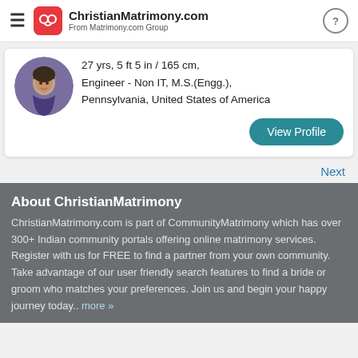ChristianMatrimony.com — From Matrimony.com Group
27 yrs, 5 ft 5 in / 165 cm, Engineer - Non IT, M.S.(Engg.), Pennsylvania, United States of America
View Profile
Next
About ChristianMatrimony
ChristianMatrimony.com is part of CommunityMatrimony which has over 300+ Indian community portals offering online matrimony services. Register with us for FREE to find a partner from your own community. Take advantage of our user friendly search features to find a bride or groom who matches your preferences. Join us and begin your happy journey today.. more »